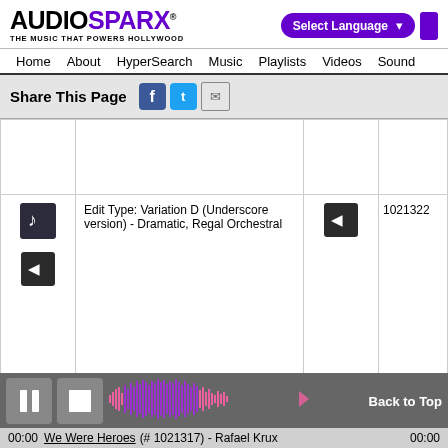[Figure (logo): AudioSparx logo with tagline 'THE MUSIC THAT POWERS HOLLYWOOD']
[Figure (screenshot): Select Language dropdown with purple background]
Home  About  HyperSearch  Music  Playlists  Videos  Sound
Share This Page
Edit Type: Variation D (Underscore version) - Dramatic, Regal Orchestral  1021322
[Figure (continuous-plot): Audio waveform visualization in purple/pink colors]
00:00  We Were Heroes  (# 1021317)  - Rafael Krux  00:00